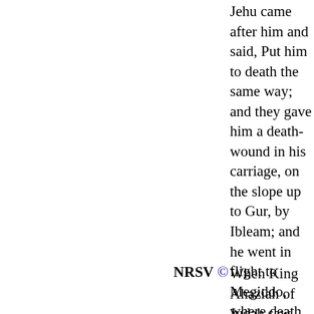Jehu came after him and said, Put him to death the same way; and they gave him a death-wound in his carriage, on the slope up to Gur, by Ibleam; and he went in flight to Megiddo, where death came to him.
NRSV © When King Ahaziah of Judah saw this, he fled in the direction of Beth-haggan. Jehu pursued him, saying, "Shoot him also!" And they shot him in the chariot at the ascent to Gur, which is by Ibleam. Then he fled to Megiddo, and died there.
NKJV © But when Ahaziah king of Judah saw this, he fled by the road to Beth Haggan. So Jehu pursued him, and said, "Shoot him also"